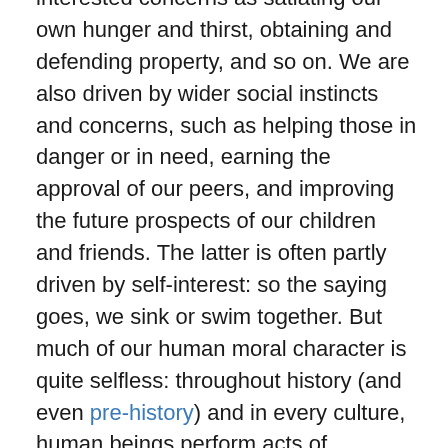interested concerns as satiating our own hunger and thirst, obtaining and defending property, and so on. We are also driven by wider social instincts and concerns, such as helping those in danger or in need, earning the approval of our peers, and improving the future prospects of our children and friends. The latter is often partly driven by self-interest: so the saying goes, we sink or swim together. But much of our human moral character is quite selfless: throughout history (and even pre-history) and in every culture, human beings perform acts of kindness that provide no immediate or foreseeable benefit to ourselves.
Here's where our roles as ‘rational’, self-interested economic actors and as moral agents conflict. The corrective force of the free market, like biological natural selection, is an amoral force, which doesn’t ‘care’ who